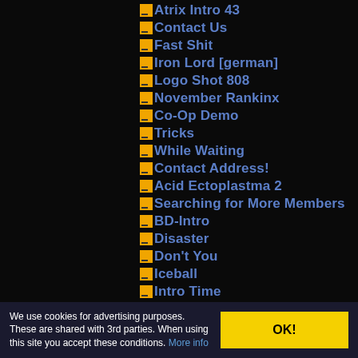Atrix Intro 43
Contact Us
Fast Shit
Iron Lord [german]
Logo Shot 808
November Rankinx
Co-Op Demo
Tricks
While Waiting
Contact Address!
Acid Ectoplastma 2
Searching for More Members
BD-Intro
Disaster
Don't You
Iceball
Intro Time
It's Cool to be Clear
Own Logo
The Slave
AX-BD is (Practically) Dead
We use cookies for advertising purposes. These are shared with 3rd parties. When using this site you accept these conditions. More info